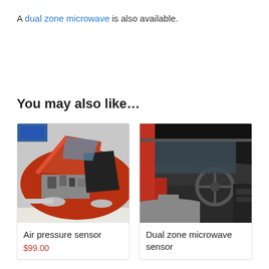A dual zone microwave is also available.
You may also like…
[Figure (photo): Red classic car with open hood/door showing engine and chrome details]
Air pressure sensor
$99.00
[Figure (photo): Interior of a red sports car showing steering wheel and dashboard through open door]
Dual zone microwave sensor